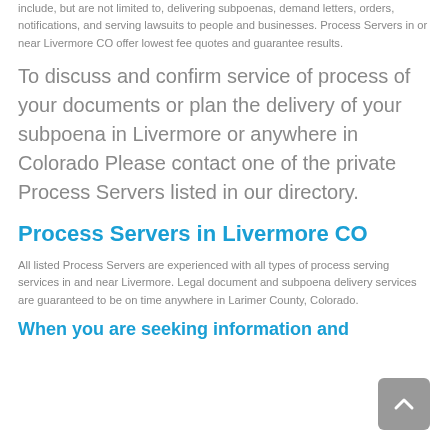include, but are not limited to, delivering subpoenas, demand letters, orders, notifications, and serving lawsuits to people and businesses. Process Servers in or near Livermore CO offer lowest fee quotes and guarantee results.
To discuss and confirm service of process of your documents or plan the delivery of your subpoena in Livermore or anywhere in Colorado Please contact one of the private Process Servers listed in our directory.
Process Servers in Livermore CO
All listed Process Servers are experienced with all types of process serving services in and near Livermore. Legal document and subpoena delivery services are guaranteed to be on time anywhere in Larimer County, Colorado.
When you are seeking information and